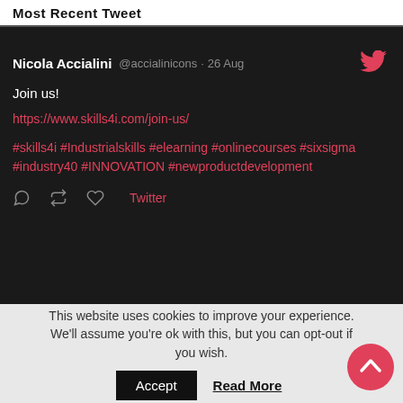Most Recent Tweet
Nicola Accialini @accialinicons · 26 Aug
Join us!
https://www.skills4i.com/join-us/
#skills4i #Industrialskills #elearning #onlinecourses #sixsigma #industry40 #INNOVATION #newproductdevelopment
Twitter
This website uses cookies to improve your experience. We'll assume you're ok with this, but you can opt-out if you wish.
Accept
Read More